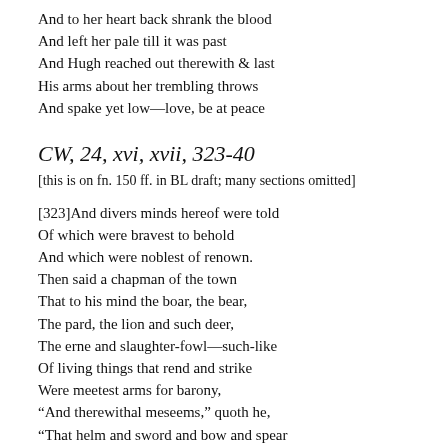And to her heart back shrank the blood
And left her pale till it was past
And Hugh reached out therewith & last
His arms about her trembling throws
And spake yet low—love, be at peace
CW, 24, xvi, xvii, 323-40
[this is on fn. 150 ff. in BL draft; many sections omitted]
[323]And divers minds hereof were told
Of which were bravest to behold
And which were noblest of renown.
Then said a chapman of the town
That to his mind the boar, the bear,
The pard, the lion and such deer,
The erne and slaughter-fowl—such-like
Of living things that rend and strike
Were meetest arms for barony,
"And therewithal meseems," quoth he,
"That helm and sword and bow and spear